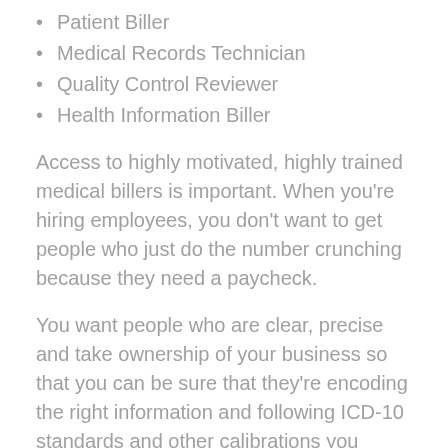Patient Biller
Medical Records Technician
Quality Control Reviewer
Health Information Biller
Access to highly motivated, highly trained medical billers is important. When you're hiring employees, you don't want to get people who just do the number crunching because they need a paycheck.
You want people who are clear, precise and take ownership of your business so that you can be sure that they’re encoding the right information and following ICD-10 standards and other calibrations you specify towards your medical billing tasks.
Here are some of the advantages of outsourcing